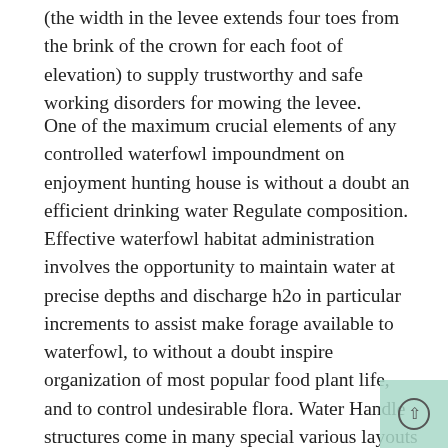(the width in the levee extends four toes from the brink of the crown for each foot of elevation) to supply trustworthy and safe working disorders for mowing the levee.
One of the maximum crucial elements of any controlled waterfowl impoundment on enjoyment hunting house is without a doubt an efficient drinking water Regulate composition. Effective waterfowl habitat administration involves the opportunity to maintain water at precise depths and discharge h2o in particular increments to assist make forage available to waterfowl, to without a doubt inspire organization of most popular food plant life, and to control undesirable flora. Water Handle structures come in many special various layouts and consequently are product of a spread of diverse materials, Each and each with its very very own strengths and restrictions. Buildings made of aluminum are willing to have a extra time life-style span as compared to different products and paintings very well for the general public of apps.